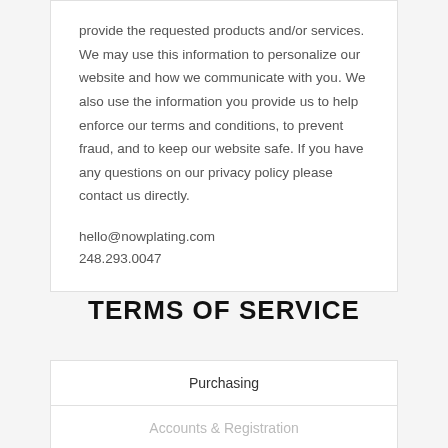provide the requested products and/or services. We may use this information to personalize our website and how we communicate with you. We also use the information you provide us to help enforce our terms and conditions, to prevent fraud, and to keep our website safe. If you have any questions on our privacy policy please contact us directly.
hello@nowplating.com
248.293.0047
TERMS OF SERVICE
Purchasing
Accounts & Registration